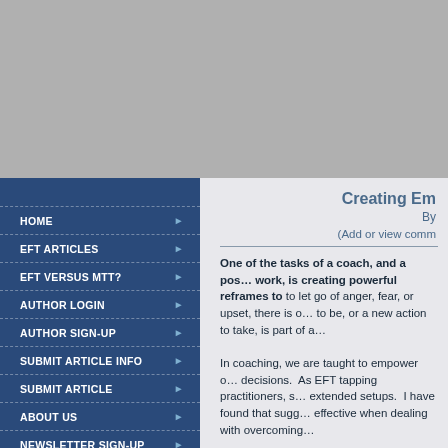[Figure (other): Gray banner image at top of page]
HOME
EFT ARTICLES
EFT VERSUS MTT?
AUTHOR LOGIN
AUTHOR SIGN-UP
SUBMIT ARTICLE INFO
SUBMIT ARTICLE
ABOUT US
NEWSLETTER SIGN-UP
LINK TO US
Creating Em…
By…
(Add or view comm…
One of the tasks of a coach, and a pos… work, is creating powerful reframes to… to let go of anger, fear, or upset, there is o… to be, or a new action to take, is part of a…
In coaching, we are taught to empower o… decisions.  As EFT tapping practitioners, s… extended setups.  I have found that sugg… effective when dealing with overcoming…